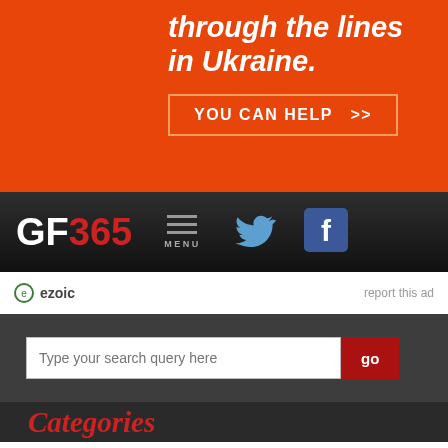[Figure (screenshot): Orange promotional banner with white bold italic text 'through the lines in Ukraine.' and a bordered button 'YOU CAN HELP >>']
[Figure (screenshot): Dark navigation bar with GF365 logo (GF in white, 365 in red), hamburger menu icon with MENU label, Twitter bird icon, and Facebook 'f' icon]
ezoic   report this ad
[Figure (screenshot): Dark gray search bar section with text input 'Type your search query here' and red 'go' button]
Categories
Y